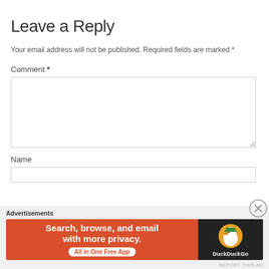Leave a Reply
Your email address will not be published. Required fields are marked *
Comment *
Name
[Figure (screenshot): DuckDuckGo advertisement banner with orange left panel saying 'Search, browse, and email with more privacy. All in One Free App' and a dark right panel with DuckDuckGo duck logo. Labeled 'Advertisements' at top. Close (X) button visible.]